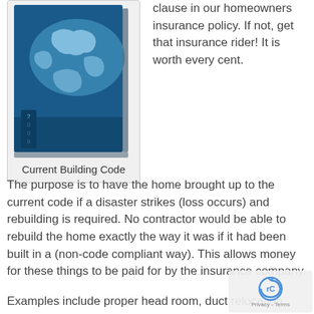[Figure (illustration): Book cover showing a world map in blue tones with '2009' text vertically on the spine area, representing a Current Building Code book]
Current Building Code
clause in our homeowners insurance policy. If not, get that insurance rider! It is worth every cent.
The purpose is to have the home brought up to the current code if a disaster strikes (loss occurs) and rebuilding is required. No contractor would be able to rebuild the home exactly the way it was if it had been built in a (non-code compliant way). This allows money for these things to be paid for by the insurance company.
Examples include proper head room, duct relocation, proper plumbing, wired together smoke detectors a…